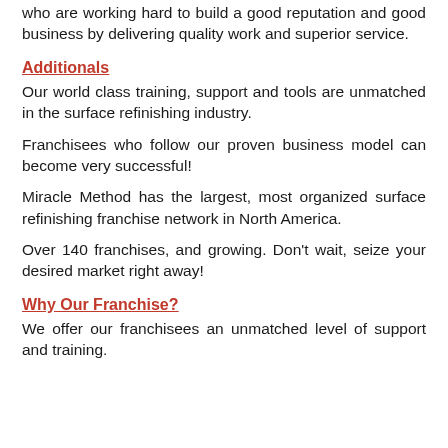who are working hard to build a good reputation and good business by delivering quality work and superior service.
Additionals
Our world class training, support and tools are unmatched in the surface refinishing industry.
Franchisees who follow our proven business model can become very successful!
Miracle Method has the largest, most organized surface refinishing franchise network in North America.
Over 140 franchises, and growing. Don't wait, seize your desired market right away!
Why Our Franchise?
We offer our franchisees an unmatched level of support and training.